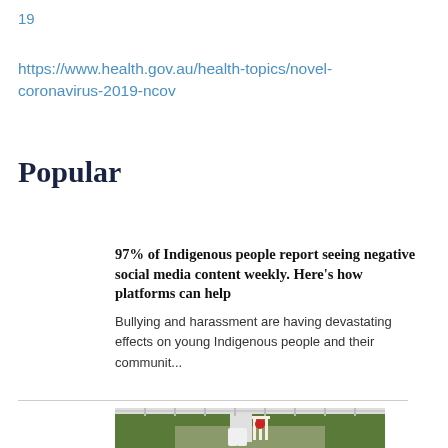19
https://www.health.gov.au/health-topics/novel-coronavirus-2019-ncov
Popular
97% of Indigenous people report seeing negative social media content weekly. Here's how platforms can help
Bullying and harassment are having devastating effects on young Indigenous people and their communit...
[Figure (photo): Cricket player at wickets on grass field]